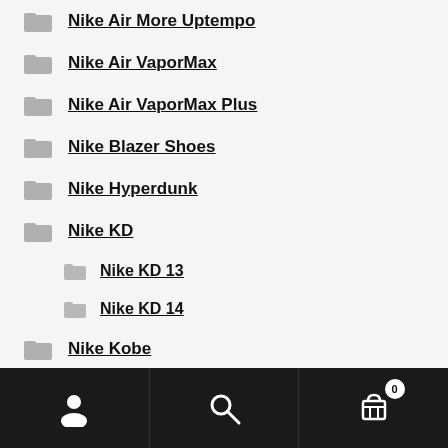Nike Air More Uptempo
Nike Air VaporMax
Nike Air VaporMax Plus
Nike Blazer Shoes
Nike Hyperdunk
Nike KD
Nike KD 13
Nike KD 14
Nike Kobe
Nike Kyrie